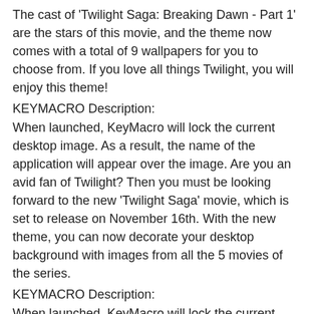The cast of 'Twilight Saga: Breaking Dawn - Part 1' are the stars of this movie, and the theme now comes with a total of 9 wallpapers for you to choose from. If you love all things Twilight, you will enjoy this theme!
KEYMACRO Description:
When launched, KeyMacro will lock the current desktop image. As a result, the name of the application will appear over the image. Are you an avid fan of Twilight? Then you must be looking forward to the new 'Twilight Saga' movie, which is set to release on November 16th. With the new theme, you can now decorate your desktop background with images from all the 5 movies of the series.
KEYMACRO Description:
When launched, KeyMacro will lock the current desktop image. As a result, the name of the application will appear over the image. Are you an avid fan of Twilight? Then you